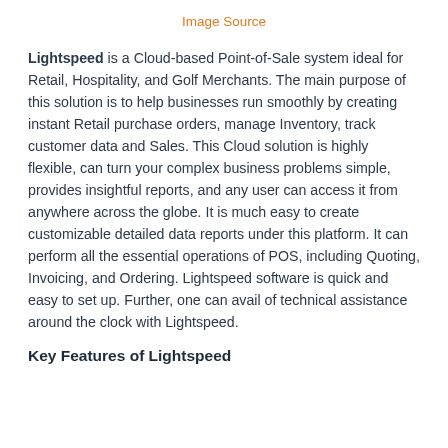Image Source
Lightspeed is a Cloud-based Point-of-Sale system ideal for Retail, Hospitality, and Golf Merchants. The main purpose of this solution is to help businesses run smoothly by creating instant Retail purchase orders, manage Inventory, track customer data and Sales. This Cloud solution is highly flexible, can turn your complex business problems simple, provides insightful reports, and any user can access it from anywhere across the globe. It is much easy to create customizable detailed data reports under this platform. It can perform all the essential operations of POS, including Quoting, Invoicing, and Ordering. Lightspeed software is quick and easy to set up. Further, one can avail of technical assistance around the clock with Lightspeed.
Key Features of Lightspeed